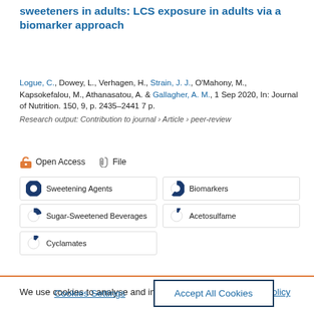sweeteners in adults: LCS exposure in adults via a biomarker approach
Logue, C., Dowey, L., Verhagen, H., Strain, J. J., O'Mahony, M., Kapsokefalou, M., Athanasatou, A. & Gallagher, A. M., 1 Sep 2020, In: Journal of Nutrition. 150, 9, p. 2435–2441 7 p.
Research output: Contribution to journal › Article › peer-review
Open Access   File
Sweetening Agents
Biomarkers
Sugar-Sweetened Beverages
Acetosulfame
Cyclamates
We use cookies to analyse and improve our service. Cookie Policy
Cookies Settings
Accept All Cookies